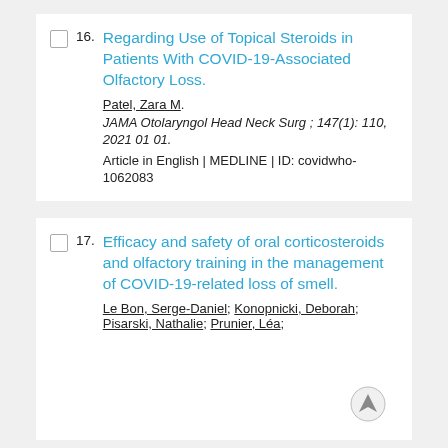16. Regarding Use of Topical Steroids in Patients With COVID-19-Associated Olfactory Loss. Patel, Zara M. JAMA Otolaryngol Head Neck Surg ; 147(1): 110, 2021 01 01. Article in English | MEDLINE | ID: covidwho-1062083
17. Efficacy and safety of oral corticosteroids and olfactory training in the management of COVID-19-related loss of smell. Le Bon, Serge-Daniel; Konopnicki, Deborah; Pisarski, Nathalie; Prunier, Léa;